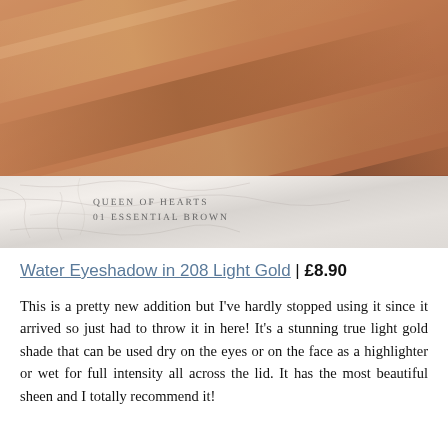[Figure (photo): Close-up photo of skin swatches showing makeup/eyeshadow pigments in bronze and brown shades, with a marble surface below showing the label 'Queen of Hearts 01 Essential Brown']
Water Eyeshadow in 208 Light Gold | £8.90
This is a pretty new addition but I've hardly stopped using it since it arrived so just had to throw it in here! It's a stunning true light gold shade that can be used dry on the eyes or on the face as a highlighter or wet for full intensity all across the lid. It has the most beautiful sheen and I totally recommend it!